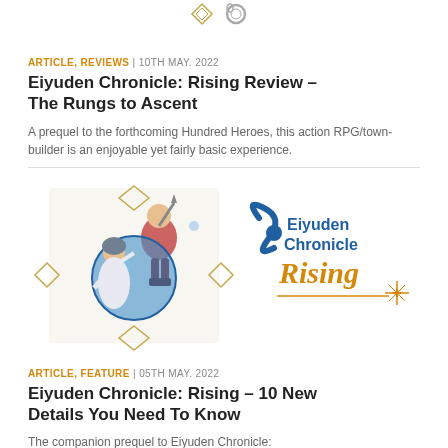[Figure (illustration): Small decorative icon/logo at top of page — diamond and ring shapes]
ARTICLE, REVIEWS | 10TH MAY. 2022
Eiyuden Chronicle: Rising Review – The Rungs to Ascent
A prequel to the forthcoming Hundred Heroes, this action RPG/town-builder is an enjoyable yet fairly basic experience.
[Figure (illustration): Eiyuden Chronicle Rising game artwork — two characters and the game logo with orange Rising text and star]
ARTICLE, FEATURE | 05TH MAY. 2022
Eiyuden Chronicle: Rising – 10 New Details You Need To Know
The companion prequel to Eiyuden Chronicle: Hundred Heroes is out on May 10th for Xbox...